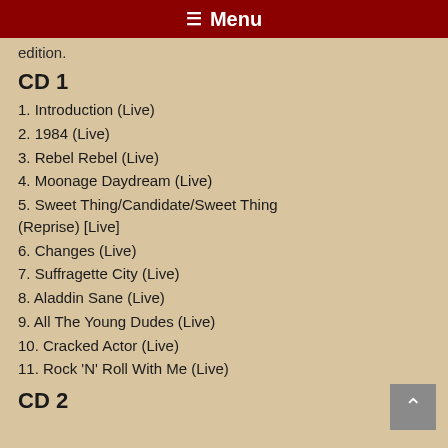☰ Menu
edition.
CD 1
1. Introduction (Live)
2. 1984 (Live)
3. Rebel Rebel (Live)
4. Moonage Daydream (Live)
5. Sweet Thing/Candidate/Sweet Thing (Reprise) [Live]
6. Changes (Live)
7. Suffragette City (Live)
8. Aladdin Sane (Live)
9. All The Young Dudes (Live)
10. Cracked Actor (Live)
11. Rock 'N' Roll With Me (Live)
CD 2